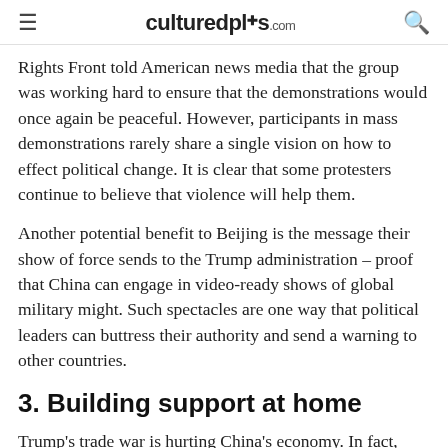culturedplus.com
Rights Front told American news media that the group was working hard to ensure that the demonstrations would once again be peaceful. However, participants in mass demonstrations rarely share a single vision on how to effect political change. It is clear that some protesters continue to believe that violence will help them.
Another potential benefit to Beijing is the message their show of force sends to the Trump administration – proof that China can engage in video-ready shows of global military might. Such spectacles are one way that political leaders can buttress their authority and send a warning to other countries.
3. Building support at home
Trump's trade war is hurting China's economy. In fact, China's economic growth stalled to a 27-year low of 6.6%. Although this rate is still high compared to most world economies, domestic consumers, the main drivers of China's growth, are tightening their spending.